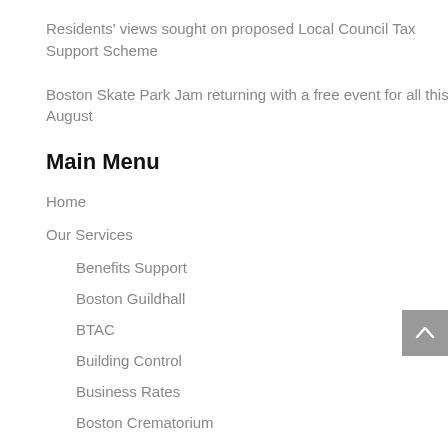Residents' views sought on proposed Local Council Tax Support Scheme
Boston Skate Park Jam returning with a free event for all this August
Main Menu
Home
Our Services
Benefits Support
Boston Guildhall
BTAC
Building Control
Business Rates
Boston Crematorium
Commercial Services
Community Safety